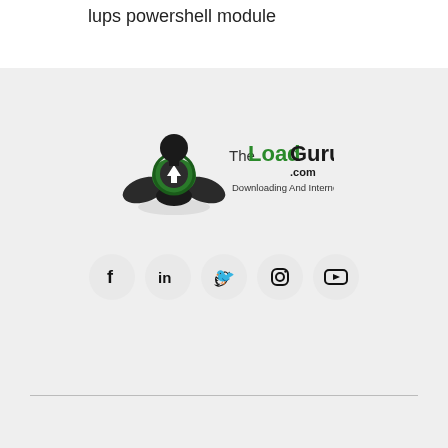lups powershell module
[Figure (logo): TheLoadGuru.com logo with a meditating figure icon in green and black, tagline: Downloading And Internet Freedom.]
[Figure (infographic): Social media icons row: Facebook, LinkedIn, Twitter, Instagram, YouTube — each in a circular grey button]